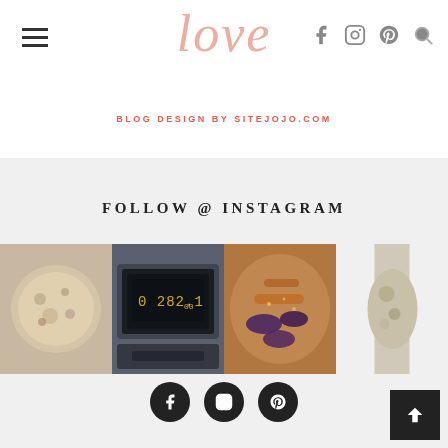[Figure (logo): Cursive script logo reading 'love' in salmon/pink color]
BLOG DESIGN BY SITEJOJO.COM
FOLLOW @ INSTAGRAM
[Figure (photo): Instagram photo grid showing four food/lifestyle photos: oatmeal cookie, treadmill display reading 0 282.1, eggplant dish, and a fourth partially visible food photo]
[Figure (infographic): Social media icon buttons: Facebook, Instagram, Pinterest (dark circular buttons)]